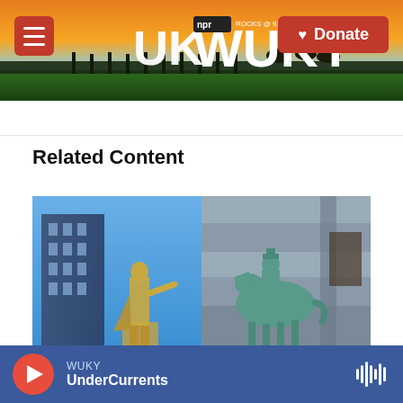WUKY NPR ROCKS @ 91.3 | WUKY.ORG
[Figure (screenshot): WUKY radio station header with sunset background, hamburger menu button, UK WUKY logo, and red Donate button]
Related Content
[Figure (photo): Two statues side by side: left is a golden/bronze standing figure against blue sky and building, right is a teal equestrian statue with rider on horseback against a stone building]
WUKY UnderCurrents